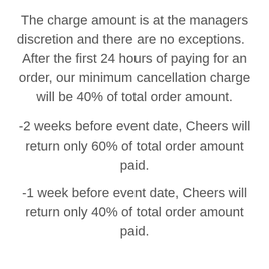The charge amount is at the managers discretion and there are no exceptions.   After the first 24 hours of paying for an order, our minimum cancellation charge will be 40% of total order amount.
-2 weeks before event date, Cheers will return only 60% of total order amount paid.
-1 week before event date, Cheers will return only 40% of total order amount paid.